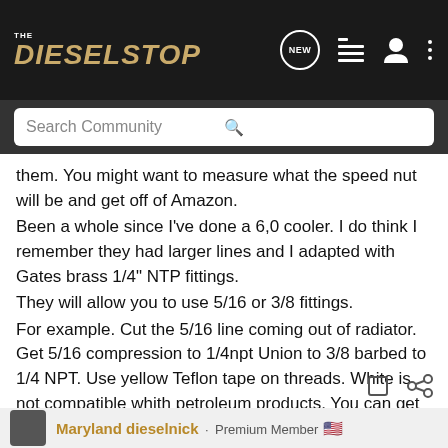[Figure (screenshot): The Diesel Stop website navigation bar with logo, NEW button, list icon, user icon, and dots menu]
Search Community
them. You might want to measure what the speed nut will be and get off of Amazon.
Been a whole since I've done a 6,0 cooler. I do think I remember they had larger lines and I adapted with Gates brass 1/4" NTP fittings.
They will allow you to use 5/16 or 3/8 fittings.
For example. Cut the 5/16 line coming out of radiator. Get 5/16 compression to 1/4npt Union to 3/8 barbed to 1/4 NPT. Use yellow Teflon tape on threads. White is not compatible whith petroleum products. You can get all of these items on Amazon.
Maryland dieselnick · Premium Member 🇺🇸